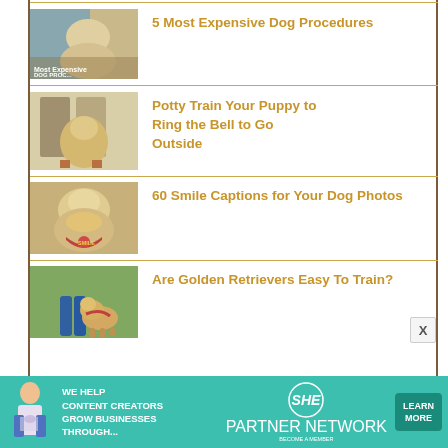5 Most Expensive Dog Procedures
Potty Train Your Puppy to Ring the Bell to Go Outside
60 Smile Captions for Your Dog Photos
Are Golden Retrievers Easy To Train?
[Figure (infographic): Advertisement banner: WE HELP CONTENT CREATORS GROW BUSINESSES THROUGH... SHE Media Partner Network. LEARN MORE button.]